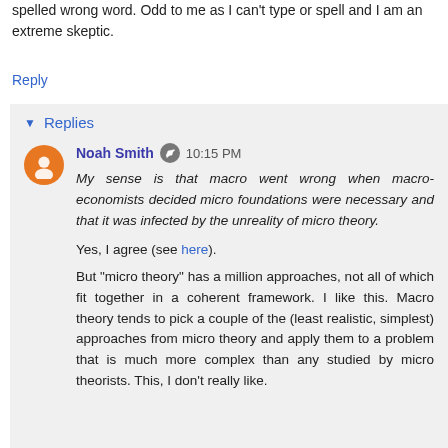spelled wrong word. Odd to me as I can't type or spell and I am an extreme skeptic.
Reply
▼ Replies
Noah Smith  10:15 PM
My sense is that macro went wrong when macro-economists decided micro foundations were necessary and that it was infected by the unreality of micro theory.
Yes, I agree (see here).
But "micro theory" has a million approaches, not all of which fit together in a coherent framework. I like this. Macro theory tends to pick a couple of the (least realistic, simplest) approaches from micro theory and apply them to a problem that is much more complex than any studied by micro theorists. This, I don't really like.